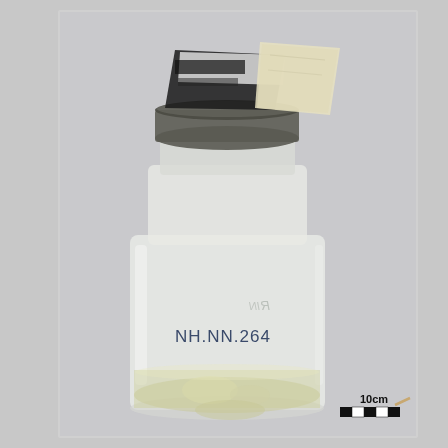[Figure (photo): A glass mason jar with a metal screw-top lid, partially covered with a folded paper label taped to the top. The jar contains a pale yellowish liquid preservative with biological specimen(s) inside. Written on the front of the jar in blue ink is 'NH.NN.264'. In the lower-right corner of the image is a black-and-white scale bar labeled '10cm'.]